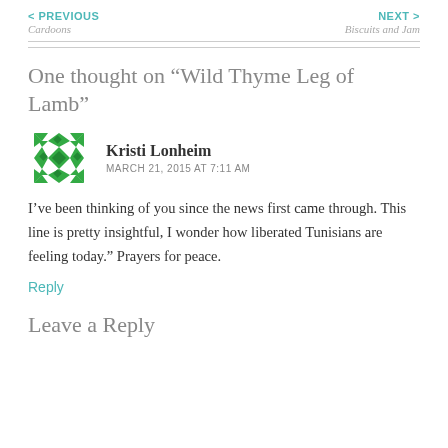< PREVIOUS
Cardoons
NEXT >
Biscuits and Jam
One thought on “Wild Thyme Leg of Lamb”
[Figure (illustration): Green geometric quilt-pattern avatar icon for user Kristi Lonheim]
Kristi Lonheim
MARCH 21, 2015 AT 7:11 AM
I’ve been thinking of you since the news first came through. This line is pretty insightful, I wonder how liberated Tunisians are feeling today.” Prayers for peace.
Reply
Leave a Reply